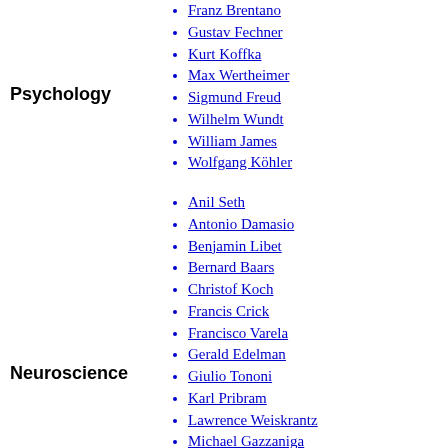Psychology
Franz Brentano
Gustav Fechner
Kurt Koffka
Max Wertheimer
Sigmund Freud
Wilhelm Wundt
William James
Wolfgang Köhler
Neuroscience
Anil Seth
Antonio Damasio
Benjamin Libet
Bernard Baars
Christof Koch
Francis Crick
Francisco Varela
Gerald Edelman
Giulio Tononi
Karl Pribram
Lawrence Weiskrantz
Michael Gazzaniga
Michael Graziano
Patrick Wilken
Roger Sperry
Stanislas Dehaene